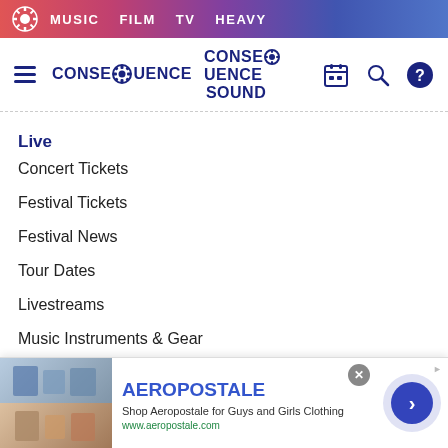MUSIC  FILM  TV  HEAVY
[Figure (logo): Consequence Sound logo with gear icon and hamburger menu, search, and help icons]
Live
Concert Tickets
Festival Tickets
Festival News
Tour Dates
Livestreams
Music Instruments & Gear
Heavy
[Figure (screenshot): Aeropostale advertisement banner with clothing images, brand name, description and arrow button]